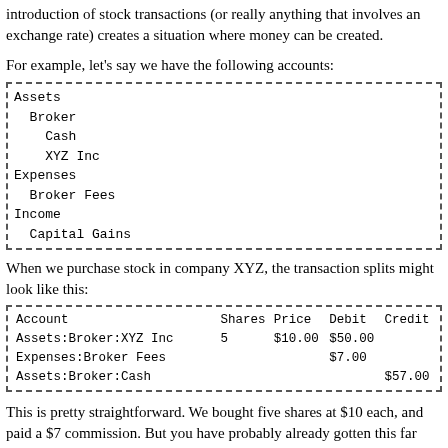introduction of stock transactions (or really anything that involves an exchange rate) creates a situation where money can be created.
For example, let's say we have the following accounts:
Assets
  Broker
    Cash
    XYZ Inc
Expenses
  Broker Fees
Income
  Capital Gains
When we purchase stock in company XYZ, the transaction splits might look like this:
| Account | Shares | Price | Debit | Credit |
| --- | --- | --- | --- | --- |
| Assets:Broker:XYZ Inc | 5 | $10.00 | $50.00 |  |
| Expenses:Broker Fees |  |  | $7.00 |  |
| Assets:Broker:Cash |  |  |  | $57.00 |
This is pretty straightforward. We bought five shares at $10 each, and paid a $7 commission. But you have probably already gotten this far and now you're ready to sell. If you entered the intuitive splits,